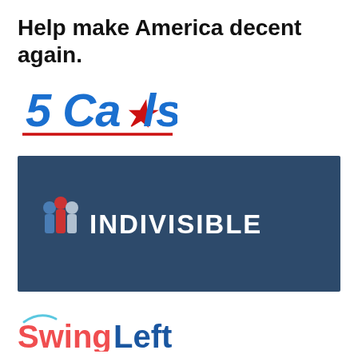Help make America decent again.
[Figure (logo): 5 Calls logo — bold blue italic text '5 Calls' with a red star replacing the letter 'l' in Calls, underlined with a red line]
[Figure (logo): Indivisible logo — white text 'INDIVISIBLE' with a small red/blue/white icon of people on a dark navy blue rectangular background]
[Figure (logo): SwingLeft logo — 'Swing' in coral/red color and 'Left' in blue color, with a small curved swoosh above the 'S']